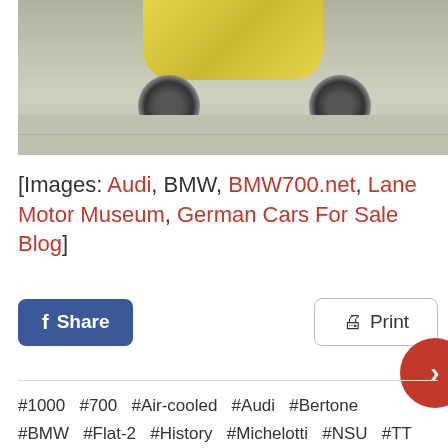[Figure (photo): Bottom portion of a small vintage car (yellow/gold color) with two wheels visible, parked on a tiled floor. Only the lower half of the car is shown.]
[Images: Audi, BMW, BMW700.net, Lane Motor Museum, German Cars For Sale Blog]
#1000  #700  #Air-cooled  #Audi  #Bertone  #BMW  #Flat-2  #History  #Michelotti  #NSU  #TT  #Rear-engine  #Prinz  #TTS  #Twin  #WankelRotary